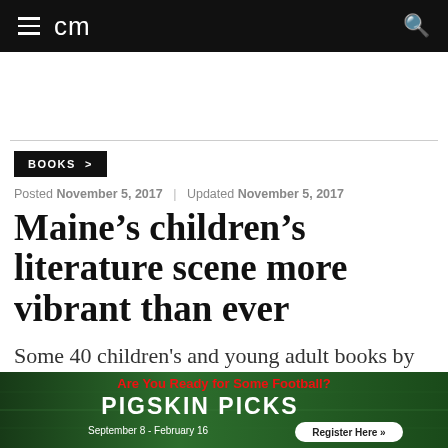cm
BOOKS >
Posted November 5, 2017 | Updated November 5, 2017
Maine's children's literature scene more vibrant than ever
Some 40 children's and young adult books by
[Figure (other): Football advertisement banner: Are You Ready for Some Football? PIGSKIN PICKS. Register Here. September 8 - February 16.]